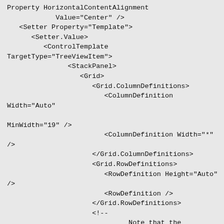Property HorizontalContentAlignment
            Value="Center" />
   <Setter Property="Template">
      <Setter.Value>
         <ControlTemplate
TargetType="TreeViewItem">
               <StackPanel>
                  <Grid>
                     <Grid.ColumnDefinitions>
                        <ColumnDefinition
Width="Auto"

MinWidth="19" />
                        <ColumnDefinition Width="*"
/>
                     </Grid.ColumnDefinitions>
                     <Grid.RowDefinitions>
                        <RowDefinition Height="Auto"
/>
                        <RowDefinition />
                     </Grid.RowDefinitions>
                     <!--
                              Note that the